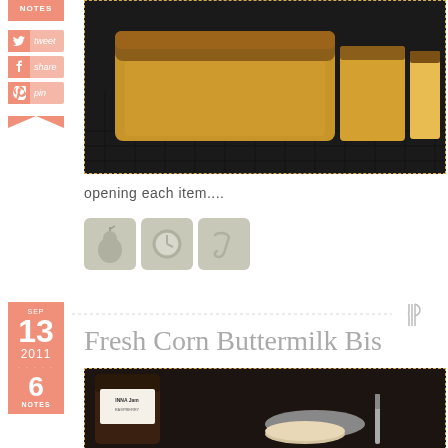[Figure (photo): Sliced cinnamon-sugar topped bread loaf on a wire cooling rack]
opening each item....
[Figure (other): Three app icons: pear/Grocery IQ, clock/timer, and a script V logo]
[Figure (other): Decorative divider with fork and knife icon on the right]
Fresh Corn Buttermilk Bis
[Figure (photo): INNA Jam jar with biscuits and butter knife on a plate]
NOTES
tweet
share
pin
SEP 13 2011 6 NOTES